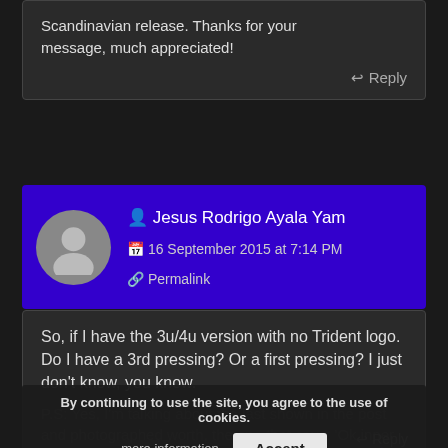Scandinavian release. Thanks for your message, much appreciated!
Reply
Jesus Rodrigo Ayala Yam
16 September 2015 at 7:14 PM
Permalink
So, if I have the 3u/4u version with no Trident logo. Do I have a 3rd pressing? Or a first pressing? I just don't know, you know.
P.S: Yes, I'm talking about the last shown in the post and photographed worth, the one that says: 'Ok inner 3rd version', not the 4u/3u version. I needed to point that out.
By continuing to use the site, you agree to the use of cookies.
more information   Accept
Reply